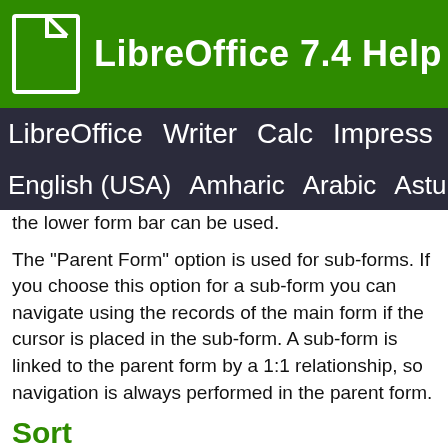LibreOffice 7.4 Help
LibreOffice Writer Calc Impress Dra
English (USA) Amharic Arabic Asturi
the lower form bar can be used.
The "Parent Form" option is used for sub-forms. If you choose this option for a sub-form you can navigate using the records of the main form if the cursor is placed in the sub-form. A sub-form is linked to the parent form by a 1:1 relationship, so navigation is always performed in the parent form.
Sort
Specifies the conditions to sort the data in the form. The specification of the sorting